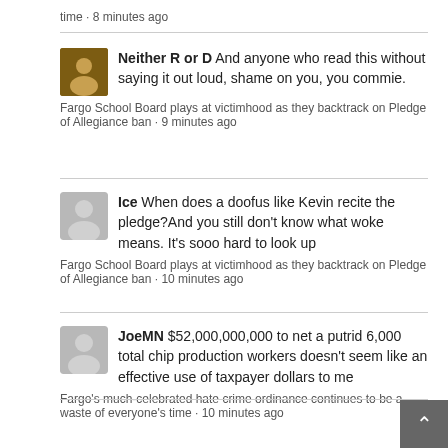time · 8 minutes ago
Neither R or D And anyone who read this without saying it out loud, shame on you, you commie.
Fargo School Board plays at victimhood as they backtrack on Pledge of Allegiance ban · 9 minutes ago
Ice When does a doofus like Kevin recite the pledge?And you still don't know what woke means. It's sooo hard to look up
Fargo School Board plays at victimhood as they backtrack on Pledge of Allegiance ban · 10 minutes ago
JoeMN $52,000,000,000 to net a putrid 6,000 total chip production workers doesn't seem like an effective use of taxpayer dollars to me
Fargo's much-celebrated hate crime ordinance continues to be a waste of everyone's time · 10 minutes ago